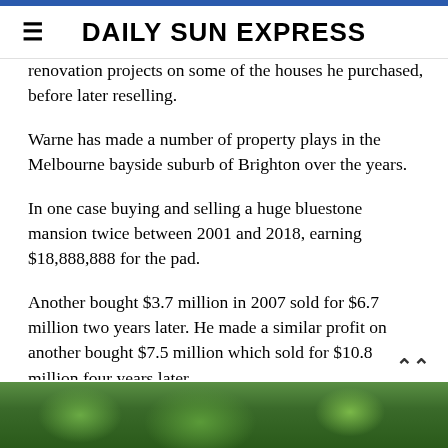DAILY SUN EXPRESS
renovation projects on some of the houses he purchased, before later reselling.
Warne has made a number of property plays in the Melbourne bayside suburb of Brighton over the years.
In one case buying and selling a huge bluestone mansion twice between 2001 and 2018, earning $18,888,888 for the pad.
Another bought $3.7 million in 2007 sold for $6.7 million two years later. He made a similar profit on another bought $7.5 million which sold for $10.8 million four years later.
[Figure (photo): Outdoor photo showing trees and greenery]